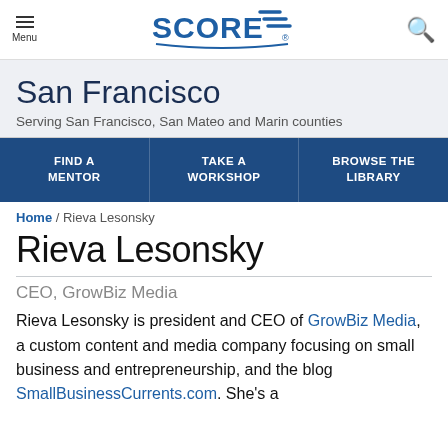Menu | SCORE | Search
San Francisco
Serving San Francisco, San Mateo and Marin counties
FIND A MENTOR | TAKE A WORKSHOP | BROWSE THE LIBRARY
Home / Rieva Lesonsky
Rieva Lesonsky
CEO, GrowBiz Media
Rieva Lesonsky is president and CEO of GrowBiz Media, a custom content and media company focusing on small business and entrepreneurship, and the blog SmallBusinessCurrents.com. She's a